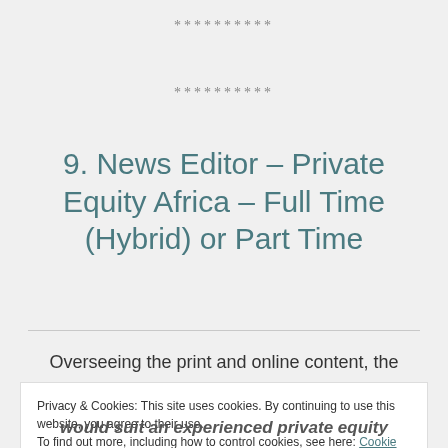**********
**********
9. News Editor – Private Equity Africa – Full Time (Hybrid) or Part Time
Overseeing the print and online content, the
Privacy & Cookies: This site uses cookies. By continuing to use this website, you agree to their use.
To find out more, including how to control cookies, see here: Cookie Policy
Close and accept
would suit an experienced private equity